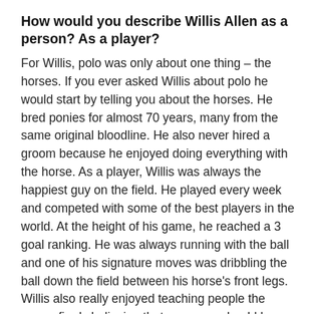How would you describe Willis Allen as a person? As a player?
For Willis, polo was only about one thing – the horses. If you ever asked Willis about polo he would start by telling you about the horses. He bred ponies for almost 70 years, many from the same original bloodline. He also never hired a groom because he enjoyed doing everything with the horse. As a player, Willis was always the happiest guy on the field. He played every week and competed with some of the best players in the world. At the height of his game, he reached a 3 goal ranking. He was always running with the ball and one of his signature moves was dribbling the ball down the field between his horse's front legs. Willis also really enjoyed teaching people the game, firmly believing that everyone should have the opportunity to play